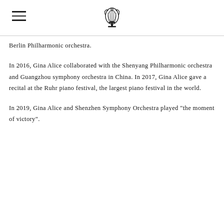[hamburger menu icon] [lyre logo]
Berlin Philharmonic orchestra.
In 2016, Gina Alice collaborated with the Shenyang Philharmonic orchestra and Guangzhou symphony orchestra in China. In 2017, Gina Alice gave a recital at the Ruhr piano festival, the largest piano festival in the world.
In 2019, Gina Alice and Shenzhen Symphony Orchestra played "the moment of victory".